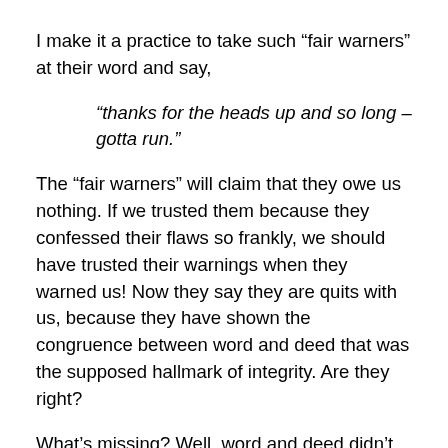I make it a practice to take such “fair warners” at their word and say,
“thanks for the heads up and so long – gotta run.”
The “fair warners” will claim that they owe us nothing. If we trusted them because they confessed their flaws so frankly, we should have trusted their warnings when they warned us! Now they say they are quits with us, because they have shown the congruence between word and deed that was the supposed hallmark of integrity. Are they right?
What’s missing? Well, word and deed didn’t really correspond. The so-called fair warnings were not given continuously. Instead, the warnings were given at one time and the harmful deed at another – else the perpetrator could never have gotten close enough to plunge in the